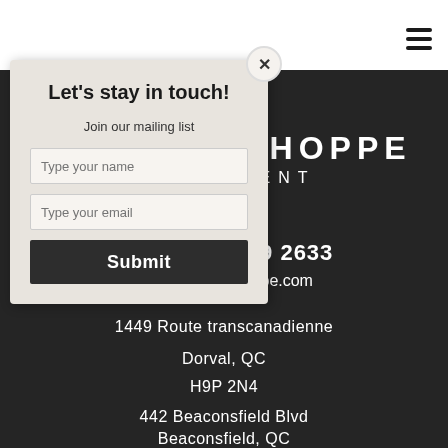[Figure (screenshot): Dark background website with partial logo showing 'E SHOPPE' and 'REMENT' text in white, hamburger menu icon top right, white top bar with partial logo icon]
[Figure (infographic): Modal popup with 'Let's stay in touch!' heading, mailing list signup form with name and email fields and Submit button, close X button in top right corner]
14 369 2633
imeshoppe.com
1449 Route transcanadienne
Dorval, QC
H9P 2N4
442 Beaconsfield Blvd
Beaconsfield, QC